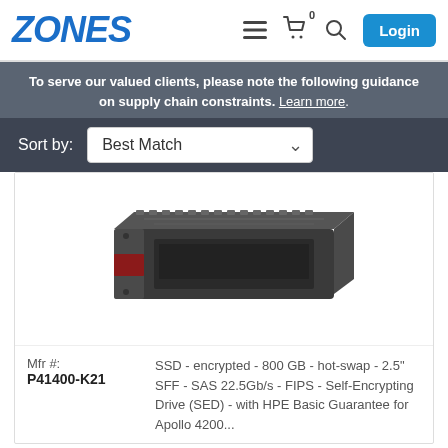ZONES
To serve our valued clients, please note the following guidance on supply chain constraints. Learn more.
Sort by: Best Match
[Figure (photo): HPE SSD hard drive in a 2.5 inch SFF form factor with SAS interface, shown in a gray server drive tray/carrier]
Mfr #:
P41400-K21
SSD - encrypted - 800 GB - hot-swap - 2.5" SFF - SAS 22.5Gb/s - FIPS - Self-Encrypting Drive (SED) - with HPE Basic Guarantee for Apollo 4200...